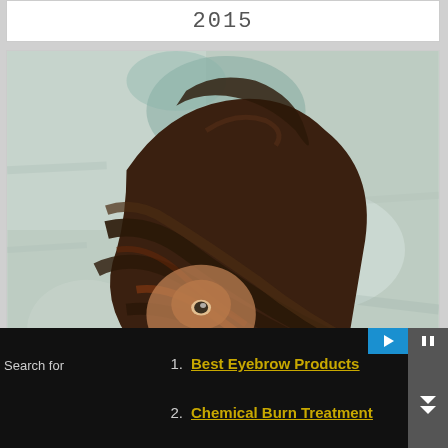2015
[Figure (illustration): Painted portrait of a person with brown hair covering most of their face, only one eye visible, against a muted teal/grey textured background. Oil-painting or mixed-media style artwork.]
Search for
1. Best Eyebrow Products
2. Chemical Burn Treatment